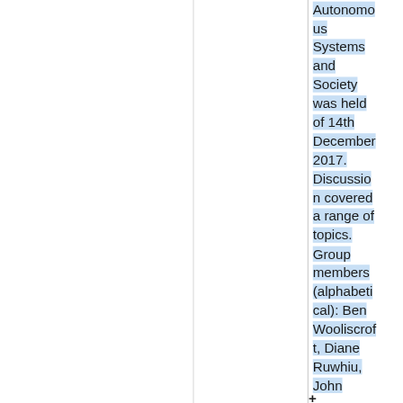Autonomous Systems and Society was held of 14th December 2017. Discussion covered a range of topics. Group members (alphabetical): Ben Wooliscroft, Diane Ruwhiu, John